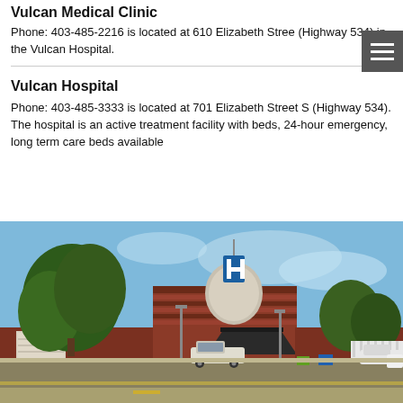Vulcan Medical Clinic
Phone: 403-485-2216 is located at 610 Elizabeth Street (Highway 534) in the Vulcan Hospital.
Vulcan Hospital
Phone: 403-485-3333 is located at 701 Elizabeth Street S (Highway 534). The hospital is an active treatment facility with beds, 24-hour emergency, long term care beds available
[Figure (photo): Exterior photograph of Vulcan Hospital, a red brick building with a prominent H hospital sign on the roof, surrounded by trees, with vehicles parked in front under a blue sky.]